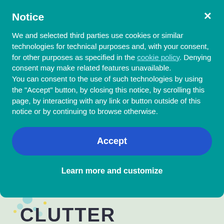Notice
We and selected third parties use cookies or similar technologies for technical purposes and, with your consent, for other purposes as specified in the cookie policy. Denying consent may make related features unavailable.
You can consent to the use of such technologies by using the "Accept" button, by closing this notice, by scrolling this page, by interacting with any link or button outside of this notice or by continuing to browse otherwise.
Accept
Learn more and customize
[Figure (photo): Photo showing crumpled blue paper pieces arranged in a shape, with partial text 'CLUTTER' visible, on a light background with colorful paint splatters]